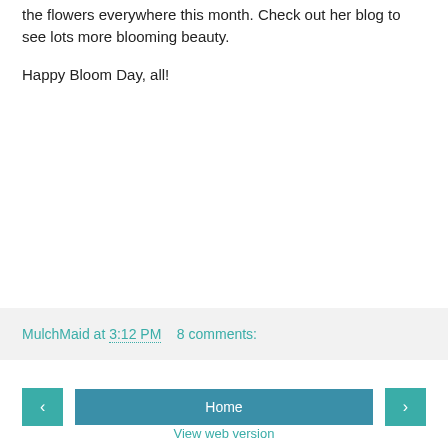the flowers everywhere this month. Check out her blog to see lots more blooming beauty.
Happy Bloom Day, all!
MulchMaid at 3:12 PM   8 comments:
‹   Home   ›   View web version